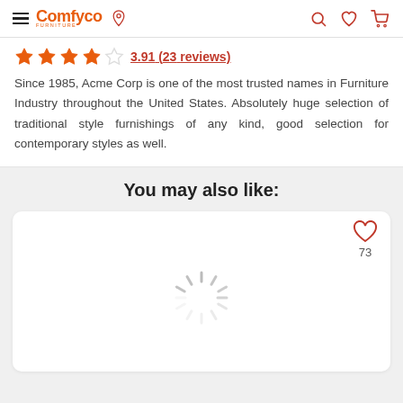Comfyco navigation bar with hamburger menu, logo, location pin, search, wishlist, and cart icons
3.91 (23 reviews) — 4 out of 5 stars
Since 1985, Acme Corp is one of the most trusted names in Furniture Industry throughout the United States. Absolutely huge selection of traditional style furnishings of any kind, good selection for contemporary styles as well.
You may also like:
[Figure (screenshot): Product card showing a loading spinner and a heart/wishlist icon with count 73]